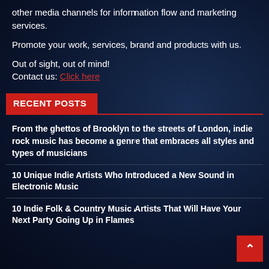other media channels for information flow and marketing services.
Promote your work, services, brand and products with us.
Out of sight, out of mind!
Contact us: Click here
RECENT POSTS
From the ghettos of Brooklyn to the streets of London, indie rock music has become a genre that embraces all styles and types of musicians
10 Unique Indie Artists Who Introduced a New Sound in Electronic Music
10 Indie Folk & Country Music Artists That Will Have Your Next Party Going Up in Flames